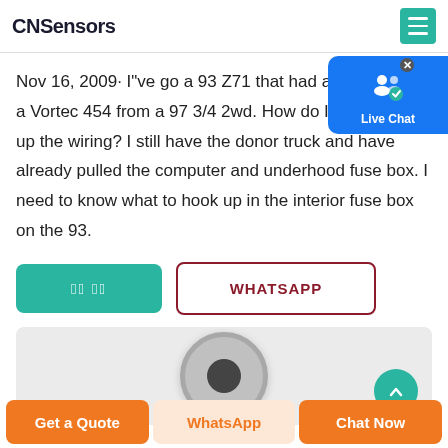CNSensors
Nov 16, 2009· I"ve go a 93 Z71 that had a 350. I"ve go a Vortec 454 from a 97 3/4 2wd. How do I go about ma up the wiring? I still have the donor truck and have already pulled the computer and underhood fuse box. I need to know what to hook up in the interior fuse box on the 93.
[Figure (screenshot): Two buttons: a teal/green button with Chinese characters and a white button with dark red border labeled WHATSAPP]
[Figure (photo): A circular metallic sensor component on a light gray background, with a teal arrow-circle button on the right side]
Get a Quote   WhatsApp   Chat Now